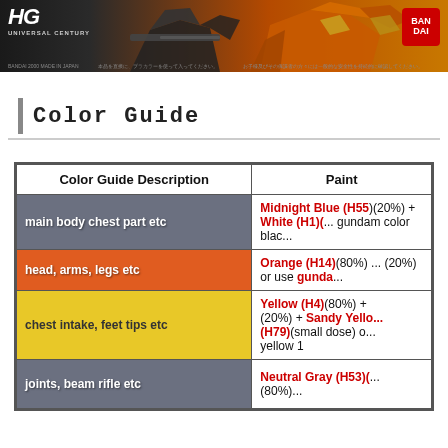[Figure (photo): Gundam model kit box art banner showing mecha in orange and dark colors with HG Universal Century logo and Bandai badge]
Color Guide
| Color Guide Description | Paint |
| --- | --- |
| main body chest part etc | Midnight Blue (H55)(20%) + White (H1)(...) gundam color blac... |
| head, arms, legs etc | Orange (H14)(80%) ... (20%) or use gunda... |
| chest intake, feet tips etc | Yellow (H4)(80%) + (20%) + Sandy Yello... (H79)(small dose) o... yellow 1 |
| joints, beam rifle etc | Neutral Gray (H53)(...) (80%)... |